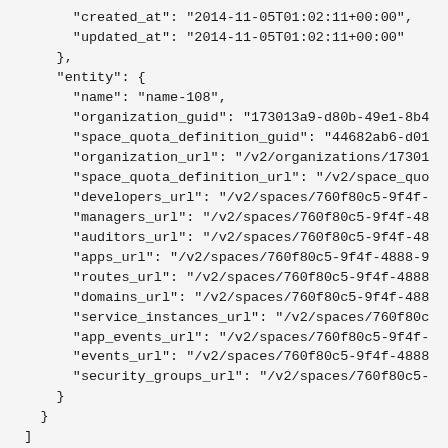JSON code block showing created_at, updated_at, entity fields including name, organization_guid, space_quota_definition_guid, organization_url, space_quota_definition_url, developers_url, managers_url, auditors_url, apps_url, routes_url, domains_url, service_instances_url, app_events_url, events_url, security_groups_url